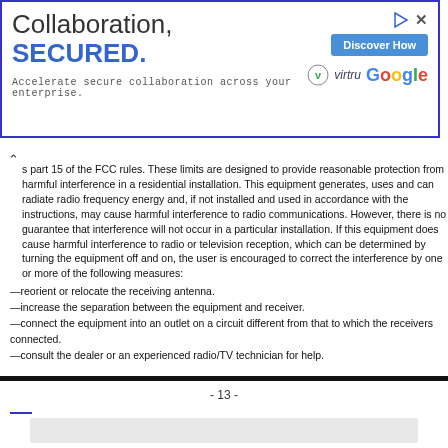[Figure (other): Advertisement banner: 'Collaboration, SECURED.' with Virtru and Google logos, Discover How button]
s part 15 of the FCC rules. These limits are designed to provide reasonable protection from harmful interference in a residential installation. This equipment generates, uses and can radiate radio frequency energy and, if not installed and used in accordance with the instructions, may cause harmful interference to radio communications. However, there is no guarantee that interference will not occur in a particular installation. If this equipment does cause harmful interference to radio or television reception, which can be determined by turning the equipment off and on, the user is encouraged to correct the interference by one or more of the following measures:
—reorient or relocate the receiving antenna.
—increase the separation between the equipment and receiver.
—connect the equipment into an outlet on a circuit different from that to which the receiver is connected.
—consult the dealer or an experienced radio/TV technician for help.
- 13 -